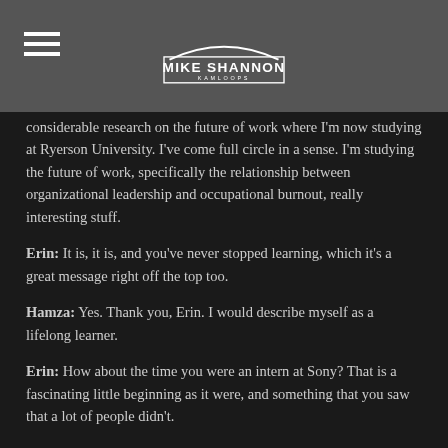Mike Shannon Kamloops
considerable research on the future of work where I'm now studying at Ryerson University. I've come full circle in a sense. I'm studying the future of work, specifically the relationship between organizational leadership and occupational burnout, really interesting stuff.
Erin: It is, it is, and you've never stopped learning, which it's a great message right off the top too.
Hamza: Yes. Thank you, Erin. I would describe myself as a lifelong learner.
Erin: How about the time you were an intern at Sony? That is a fascinating little beginning as it were, and something that you saw that a lot of people didn't.